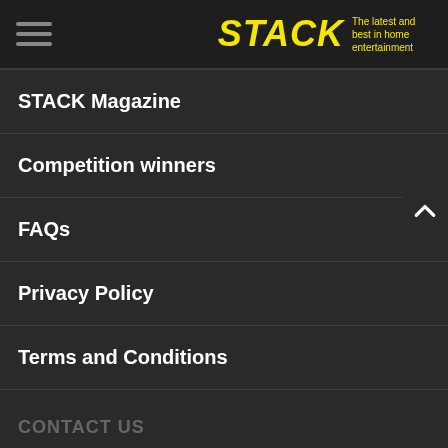STACK — The latest and best in home entertainment
STACK Magazine
Competition winners
FAQs
Privacy Policy
Terms and Conditions
CONTACT US